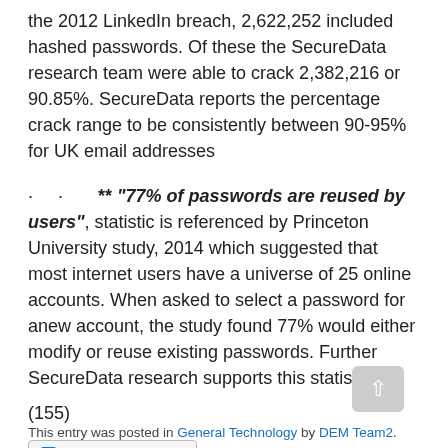the 2012 LinkedIn breach, 2,622,252 included hashed passwords. Of these the SecureData research team were able to crack 2,382,216 or 90.85%. SecureData reports the percentage crack range to be consistently between 90-95% for UK email addresses
· · ** "77% of passwords are reused by users", statistic is referenced by Princeton University study, 2014 which suggested that most internet users have a universe of 25 online accounts. When asked to select a password for anew account, the study found 77% would either modify or reuse existing passwords. Further SecureData research supports this statistic.
(155)
[Figure (other): Share/Save social sharing bar with Facebook, Twitter and share icons, and a back-to-top button]
This entry was posted in General Technology by DEM Team2.